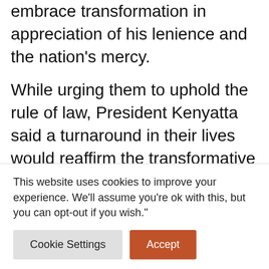embrace transformation in appreciation of his lenience and the nation's mercy.
While urging them to uphold the rule of law, President Kenyatta said a turnaround in their lives would reaffirm the transformative justice in the country.
“To those that have been pardoned, mine to you is that you should now be change-makers in our society and restore faith and confidence in our criminal justice system,” President
This website uses cookies to improve your experience. We’ll assume you’re ok with this, but you can opt-out if you wish."